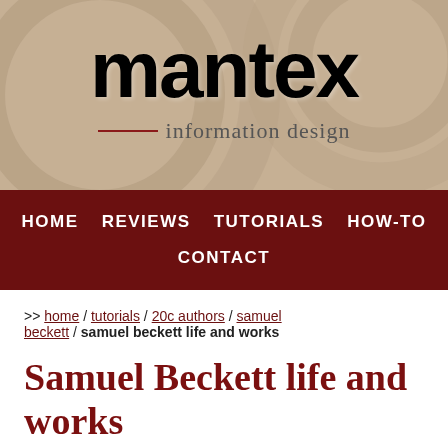[Figure (logo): Mantex information design logo with sepia-toned background of circular shapes, bold black 'mantex' text and 'information design' tagline with dark red rule]
HOME   REVIEWS   TUTORIALS   HOW-TO   CONTACT
>> home / tutorials / 20c authors / samuel beckett / samuel beckett life and works
Samuel Beckett life and works